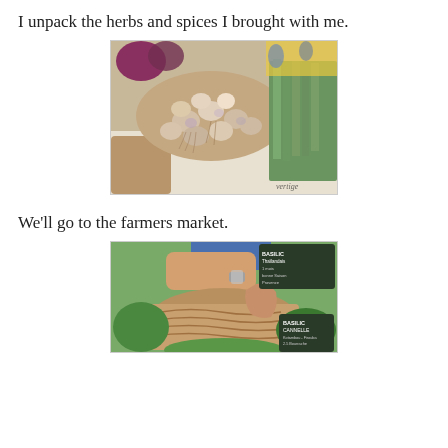I unpack the herbs and spices I brought with me.
[Figure (photo): A market stall displaying a large pile of garlic bulbs with roots and dried stalks, alongside bunches of green vegetables, on a white table.]
We'll go to the farmers market.
[Figure (photo): A farmers market herb stall showing wicker baskets of fresh herbs, a person's hand with a bracelet touching the display, and chalkboard signs reading 'Basilic Thaïlandais' and 'Basilic Cannelle'.]